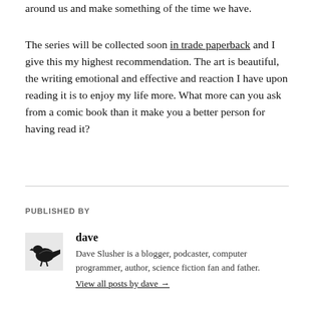around us and make something of the time we have.
The series will be collected soon in trade paperback and I give this my highest recommendation. The art is beautiful, the writing emotional and effective and reaction I have upon reading it is to enjoy my life more. What more can you ask from a comic book than it make you a better person for having read it?
PUBLISHED BY
[Figure (illustration): Small black bird/raven logo avatar for user dave]
dave
Dave Slusher is a blogger, podcaster, computer programmer, author, science fiction fan and father.
View all posts by dave →